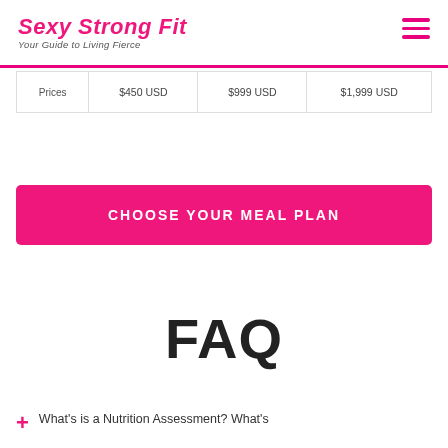Sexy Strong Fit — Your Guide to Living Fierce
| Prices | $450 USD | $999 USD | $1,999 USD |
| --- | --- | --- | --- |
CHOOSE YOUR MEAL PLAN
FAQ
What's is a Nutrition Assessment? What's